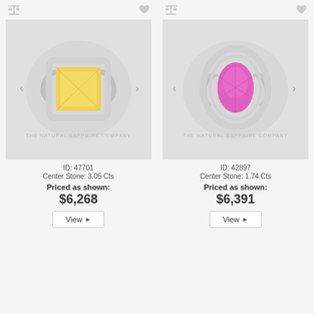[Figure (photo): Yellow cushion-cut sapphire diamond halo ring on white background, The Natural Sapphire Company]
ID: 47701
Center Stone: 3.05 Cts
Priced as shown:
$6,268
View
[Figure (photo): Pink pear-cut sapphire diamond double halo ring on white background, The Natural Sapphire Company]
ID: 42897
Center Stone: 1.74 Cts
Priced as shown:
$6,391
View
[Figure (photo): Partially visible ring product image placeholder (bottom left)]
[Figure (photo): Partially visible ring product image placeholder (bottom right)]